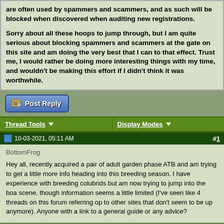are often used by spammers and scammers, and as such will be blocked when discovered when auditing new registrations.

Sorry about all these hoops to jump through, but I am quite serious about blocking spammers and scammers at the gate on this site and am doing the very best that I can to that effect. Trust me, I would rather be doing more interesting things with my time, and wouldn't be making this effort if I didn't think it was worthwhile.
Post Reply
Thread Tools ▼   Display Modes ▼
10-03-2021, 05:11 AM  #1
BottomFrog
Hey all, recently acquired a pair of adult garden phase ATB and am trying to get a little more info heading into this breeding season. I have experience with breeding colubrids but am now trying to jump into the boa scene, though information seems a little limited (I've seen like 4 threads on this forum referring op to other sites that don't seem to be up anymore). Anyone with a link to a general guide or any advice?
10-03-2021, 09:58 AM  #2
The ReptiRanch
Quote: